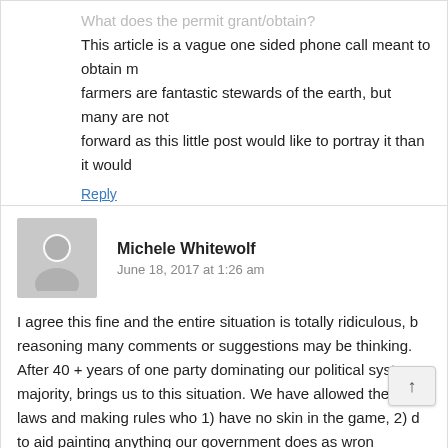This article is a vague one sided phone call meant to obtain farmers are fantastic stewards of the earth, but many are not forward as this little post would like to portray it than it would livelihood of farmers, and our food system as a whole, but you information given
Reply
Michele Whitewolf
June 18, 2017 at 1:26 am
I agree this fine and the entire situation is totally ridiculous, b reasoning many comments or suggestions may be thinking. After 40 + years of one party dominating our political system majority, brings us to this situation. We have allowed the gam laws and making rules who 1) have no skin in the game, 2) d to aid painting anything our government does as wrong ow from people who don't live by any laws them selves.